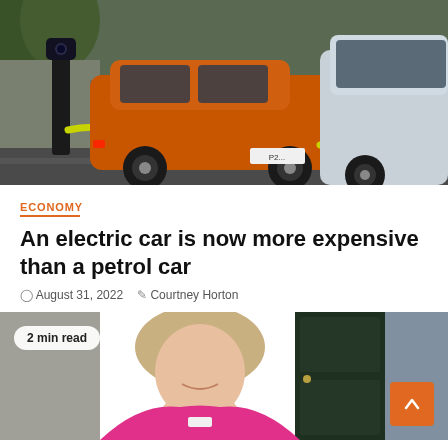[Figure (photo): Electric vehicles being charged at a street charging station. An orange SUV and a silver car are plugged in with yellow charging cables. A charger post is visible on the left side of the image.]
ECONOMY
An electric car is now more expensive than a petrol car
August 31, 2022   Courtney Horton
[Figure (photo): A smiling woman with blonde hair wearing a bright pink/fuchsia top, posing with her chin resting on her hands near a dark green door. A '2 min read' badge is overlaid on the top left of the image. An orange scroll-to-top button is in the bottom right corner.]